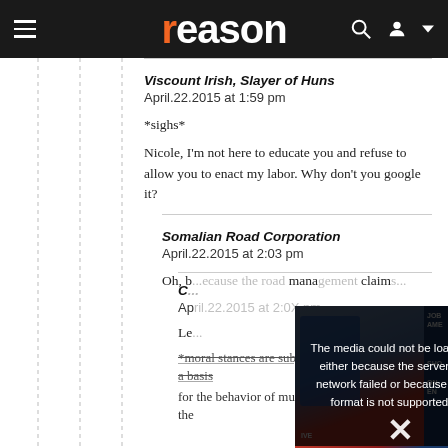reason
Viscount Irish, Slayer of Huns
April.22.2015 at 1:59 pm

*sighs*

Nicole, I'm not here to educate you and refuse to allow you to enact my labor. Why don't you google it?
Somalian Road Corporation
April.22.2015 at 2:03 pm

Oh, b... [partially obscured] mana... claim...
[Figure (screenshot): Video player overlay showing error message: 'The media could not be loaded, either because the server or network failed or because the format is not supported.' with a large X close button and protest/rally image in background showing 'AMERICAN!' banner.]
C...
Ap...

Le...

*moral stances are subjective and thus useless as a basis for the behavior of multicultural populations, all the